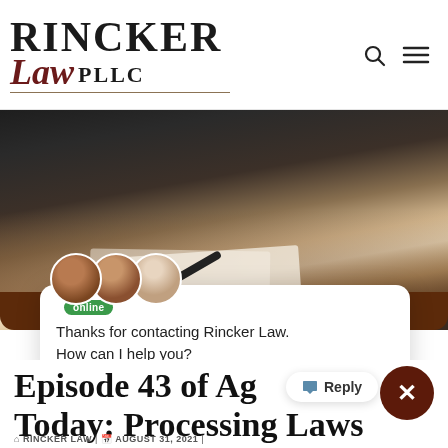RINCKER Law PLLC
[Figure (photo): Two people exchanging documents across a desk, one holding a pen, office background]
Thanks for contacting Rincker Law. How can I help you?
Episode 43 of Ag Today: Processing Laws
Reply
RINCKER LAW | AUGUST 31, 2021 |